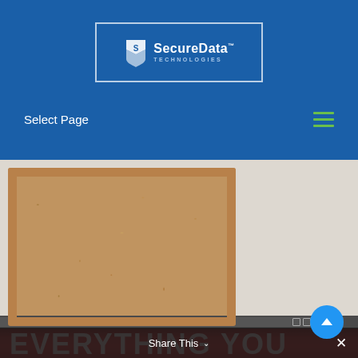[Figure (logo): SecureData Technologies logo in white text with stylized S icon, inside a rectangular border on blue background]
Select Page
[Figure (photo): Cork bulletin board on white wall background, with bottom portion showing a computer monitor displaying red screen with text 'EVERYTHING YOU'. A 'Share This' bar at the bottom and scroll-to-top blue circular button visible.]